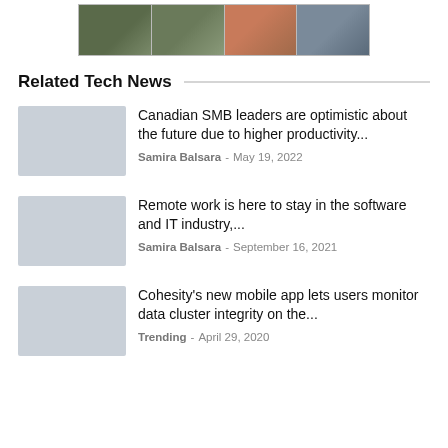[Figure (photo): A strip of four outdoor/nature photographs shown side by side in a bordered frame]
Related Tech News
Canadian SMB leaders are optimistic about the future due to higher productivity...
Samira Balsara - May 19, 2022
Remote work is here to stay in the software and IT industry,...
Samira Balsara - September 16, 2021
Cohesity's new mobile app lets users monitor data cluster integrity on the...
Trending - April 29, 2020